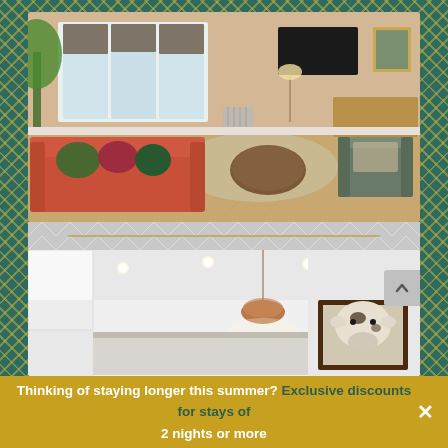[Figure (photo): Interior living room photo showing an orange/terracotta sofa with colorful cushions, herringbone wood floor, bay windows with patterned roman blinds, a grey armchair, circular coffee table, and a wall-mounted TV]
[Figure (photo): Interior kitchen/dining area photo showing white ceiling with recessed spotlights, a copper pendant light hanging over a kitchen island or table, and a framed cow artwork on the wall]
Thinking of staying longer this summer? Exclusive discounts for stays of 2 nights or more